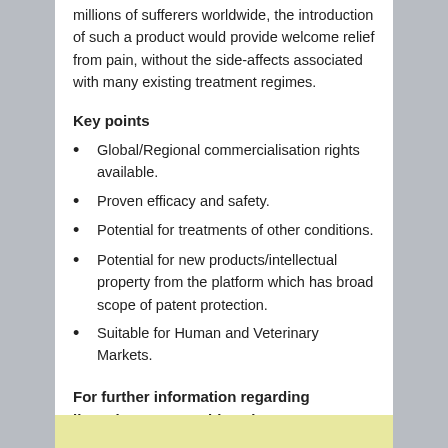millions of sufferers worldwide, the introduction of such a product would provide welcome relief from pain, without the side-affects associated with many existing treatment regimes.
Key points
Global/Regional commercialisation rights available.
Proven efficacy and safety.
Potential for treatments of other conditions.
Potential for new products/intellectual property from the platform which has broad scope of patent protection.
Suitable for Human and Veterinary Markets.
For further information regarding licensing opportunities please contact:
persis@arthritisreliefplus.com.au